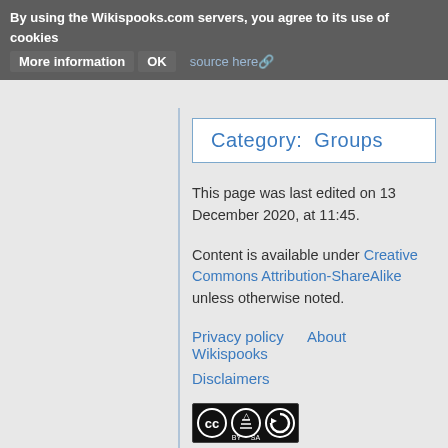By using the Wikispooks.com servers, you agree to its use of cookies  More information  OK  source here
Category:  Groups
This page was last edited on 13 December 2020, at 11:45.
Content is available under Creative Commons Attribution-ShareAlike unless otherwise noted.
Privacy policy    About Wikispooks
Disclaimers
[Figure (logo): Creative Commons BY-SA badge (CC BY SA icons in black)]
[Figure (logo): Powered by MediaWiki badge]
[Figure (logo): Semantic MediaWiki badge]